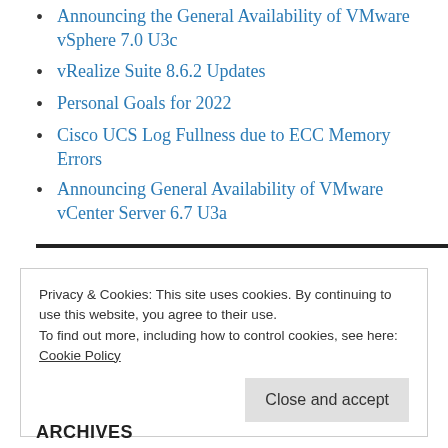Announcing the General Availability of VMware vSphere 7.0 U3c
vRealize Suite 8.6.2 Updates
Personal Goals for 2022
Cisco UCS Log Fullness due to ECC Memory Errors
Announcing General Availability of VMware vCenter Server 6.7 U3a
Privacy & Cookies: This site uses cookies. By continuing to use this website, you agree to their use.
To find out more, including how to control cookies, see here:
Cookie Policy
ARCHIVES